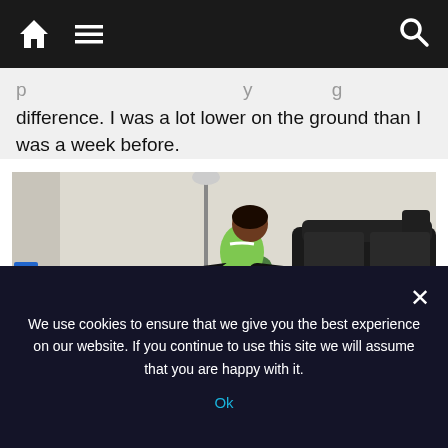Navigation bar with home, menu, and search icons
difference. I was a lot lower on the ground than I was a week before.
[Figure (photo): Person performing a splits stretch on a white rug in a living room, wearing a green top and black pants, with a black leather sofa and floor lamp in the background]
We use cookies to ensure that we give you the best experience on our website. If you continue to use this site we will assume that you are happy with it.
Ok